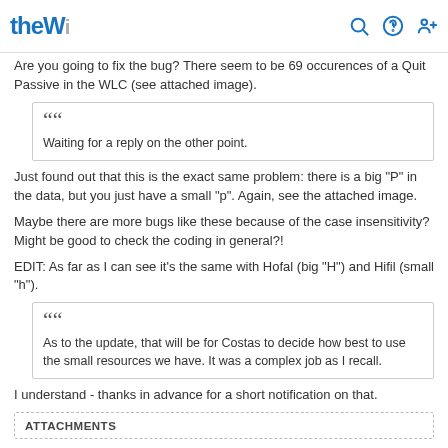theW [logo] [search icon] [power icon] [add user icon]
Are you going to fix the bug? There seem to be 69 occurences of a Quit Passive in the WLC (see attached image).
Waiting for a reply on the other point.
Just found out that this is the exact same problem: there is a big "P" in the data, but you just have a small "p". Again, see the attached image.
Maybe there are more bugs like these because of the case insensitivity? Might be good to check the coding in general?!
EDIT: As far as I can see it's the same with Hofal (big "H") and Hifil (small "h").
As to the update, that will be for Costas to decide how best to use the small resources we have. It was a complex job as I recall.
I understand - thanks in advance for a short notification on that.
ATTACHMENTS